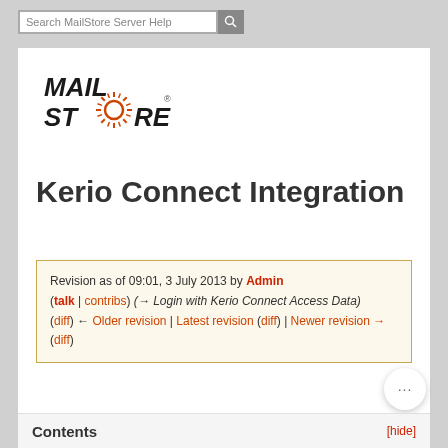[Figure (logo): MailStore logo with bold stylized text MAIL STORE and orange sunburst/circular design for the O]
Kerio Connect Integration
Revision as of 09:01, 3 July 2013 by Admin (talk | contribs) (→ Login with Kerio Connect Access Data)
(diff) ← Older revision | Latest revision (diff) | Newer revision → (diff)
Contents [hide]